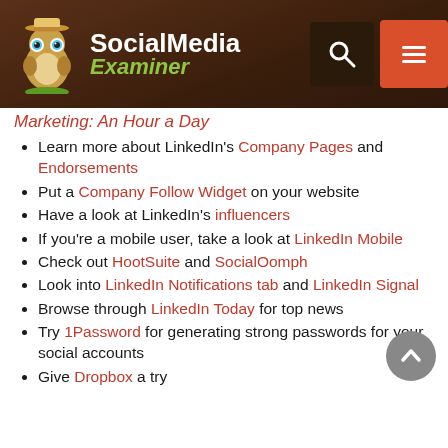[Figure (logo): Social Media Examiner website header with owl mascot logo, search icon, and menu icon on a dark brown background]
Marketing: An Hour a Day (italic link)
Learn more about LinkedIn's Company Pages and Endorsements
Put a Company Follow Widget on your website
Have a look at LinkedIn's influencers
If you're a mobile user, take a look at LinkedIn Mobile
Check out HootSuite and SocialOomph
Look into LinkedIn Notifications tab and LinkedIn Signal
Browse through LinkedIn Today for top news
Try 1Password for generating strong passwords for your social accounts
Give Dropbox a try